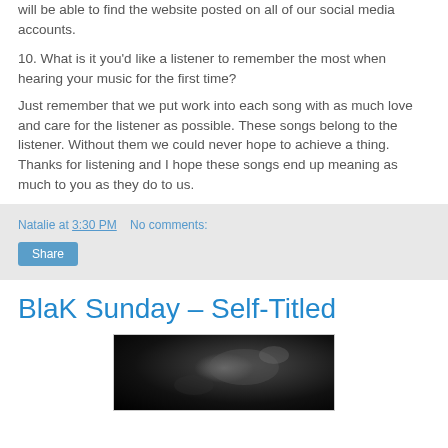will be able to find the website posted on all of our social media accounts.
10. What is it you'd like a listener to remember the most when hearing your music for the first time?
Just remember that we put work into each song with as much love and care for the listener as possible. These songs belong to the listener. Without them we could never hope to achieve a thing. Thanks for listening and I hope these songs end up meaning as much to you as they do to us.
Natalie at 3:30 PM    No comments:
Share
BlaK Sunday – Self-Titled
[Figure (photo): Dark black and white photograph, appears to show a dimly lit scene with some light in the center-right area.]